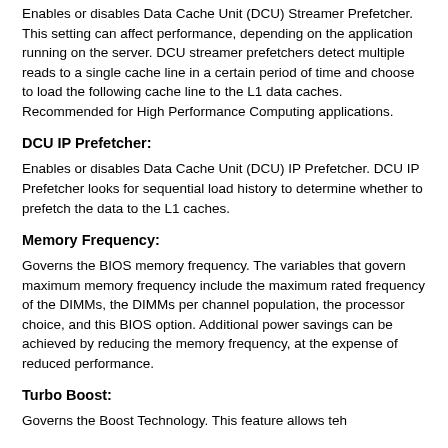Enables or disables Data Cache Unit (DCU) Streamer Prefetcher. This setting can affect performance, depending on the application running on the server. DCU streamer prefetchers detect multiple reads to a single cache line in a certain period of time and choose to load the following cache line to the L1 data caches. Recommended for High Performance Computing applications.
DCU IP Prefetcher:
Enables or disables Data Cache Unit (DCU) IP Prefetcher. DCU IP Prefetcher looks for sequential load history to determine whether to prefetch the data to the L1 caches.
Memory Frequency:
Governs the BIOS memory frequency. The variables that govern maximum memory frequency include the maximum rated frequency of the DIMMs, the DIMMs per channel population, the processor choice, and this BIOS option. Additional power savings can be achieved by reducing the memory frequency, at the expense of reduced performance.
Turbo Boost:
Governs the Boost Technology. This feature allows teh